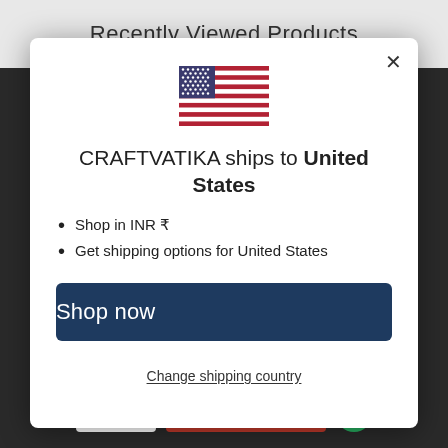Recently Viewed Products
[Figure (screenshot): Background of an e-commerce website with dark sidebar navigation and bottom bar showing INR currency selector, ADD TO CART button, and green chat button]
[Figure (illustration): US flag icon shown inside modal dialog]
CRAFTVATIKA ships to United States
Shop in INR ₹
Get shipping options for United States
Shop now
Change shipping country